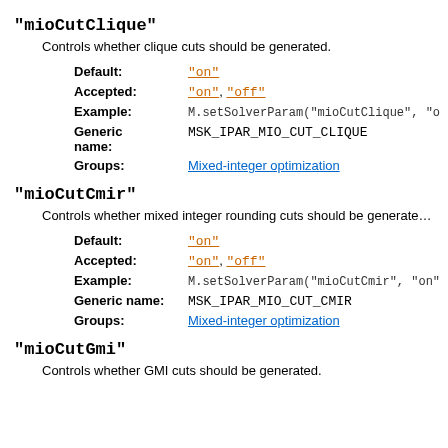"mioCutClique"
Controls whether clique cuts should be generated.
| Field | Value |
| --- | --- |
| Default: | "on" |
| Accepted: | "on", "off" |
| Example: | M.setSolverParam("mioCutClique", "o |
| Generic name: | MSK_IPAR_MIO_CUT_CLIQUE |
| Groups: | Mixed-integer optimization |
"mioCutCmir"
Controls whether mixed integer rounding cuts should be generate…
| Field | Value |
| --- | --- |
| Default: | "on" |
| Accepted: | "on", "off" |
| Example: | M.setSolverParam("mioCutCmir", "on" |
| Generic name: | MSK_IPAR_MIO_CUT_CMIR |
| Groups: | Mixed-integer optimization |
"mioCutGmi"
Controls whether GMI cuts should be generated.